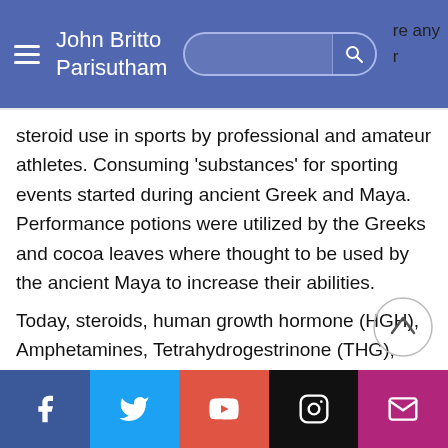John Britto Parisutham
steroid use in sports by professional and amateur athletes. Consuming 'substances' for sporting events started during ancient Greek and Maya. Performance potions were utilized by the Greeks and cocoa leaves where thought to be used by the ancient Maya to increase their abilities.
Today, steroids, human growth hormone (HGH), Amphetamines, Tetrahydrogestrinone (THG), modafinil and even animal or human organs used by the athletes to increase their ability
Facebook | Twitter | YouTube | Instagram | Email